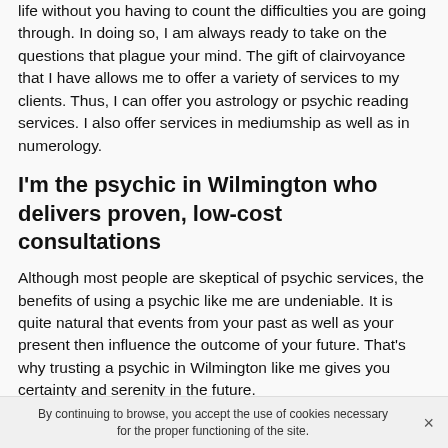life without you having to count the difficulties you are going through. In doing so, I am always ready to take on the questions that plague your mind. The gift of clairvoyance that I have allows me to offer a variety of services to my clients. Thus, I can offer you astrology or psychic reading services. I also offer services in mediumship as well as in numerology.
I'm the psychic in Wilmington who delivers proven, low-cost consultations
Although most people are skeptical of psychic services, the benefits of using a psychic like me are undeniable. It is quite natural that events from your past as well as your present then influence the outcome of your future. That's why trusting a psychic in Wilmington like me gives you certainty and serenity in the future.
By continuing to browse, you accept the use of cookies necessary for the proper functioning of the site.